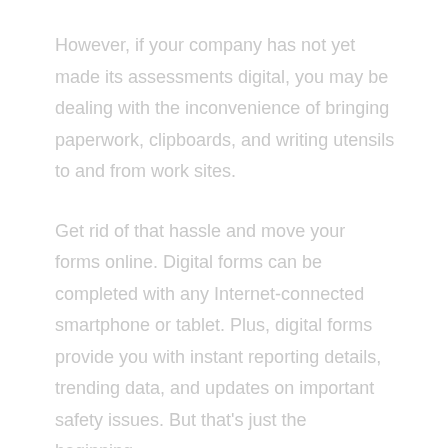However, if your company has not yet made its assessments digital, you may be dealing with the inconvenience of bringing paperwork, clipboards, and writing utensils to and from work sites.
Get rid of that hassle and move your forms online. Digital forms can be completed with any Internet-connected smartphone or tablet. Plus, digital forms provide you with instant reporting details, trending data, and updates on important safety issues. But that's just the beginning...